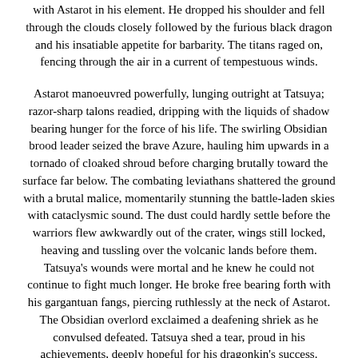with Astarot in his element. He dropped his shoulder and fell through the clouds closely followed by the furious black dragon and his insatiable appetite for barbarity. The titans raged on, fencing through the air in a current of tempestuous winds.
Astarot manoeuvred powerfully, lunging outright at Tatsuya; razor-sharp talons readied, dripping with the liquids of shadow bearing hunger for the force of his life. The swirling Obsidian brood leader seized the brave Azure, hauling him upwards in a tornado of cloaked shroud before charging brutally toward the surface far below. The combating leviathans shattered the ground with a brutal malice, momentarily stunning the battle-laden skies with cataclysmic sound. The dust could hardly settle before the warriors flew awkwardly out of the crater, wings still locked, heaving and tussling over the volcanic lands before them. Tatsuya's wounds were mortal and he knew he could not continue to fight much longer. He broke free bearing forth with his gargantuan fangs, piercing ruthlessly at the neck of Astarot. The Obsidian overlord exclaimed a deafening shriek as he convulsed defeated. Tatsuya shed a tear, proud in his achievements, deeply hopeful for his dragonkin's success.
Despite their bravery, compassion and leadership, the Azure tribe were not the most powerful in battle; almost all had suffered and died in the conflict. The war continued long through the storm, and even with their sheer numbers and aggression, the blunt and now disorganised Obsidian brood fell to the armies of the sky in their diligent battle for freedom.